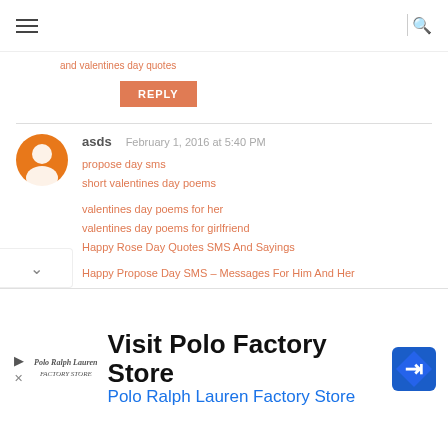and Valentines day quotes
REPLY
asds — February 1, 2016 at 5:40 PM
propose day sms
short valentines day poems
valentines day poems for her
valentines day poems for girlfriend
Happy Rose Day Quotes SMS And Sayings
Happy Propose Day SMS – Messages For Him And Her
Valentines Day Quotes
Happy Chocolate Day Love Quotes
Happy Chocolate Day Sms Messages
[Figure (infographic): Advertisement banner for Visit Polo Factory Store / Polo Ralph Lauren Factory Store with logo and map pin icon]